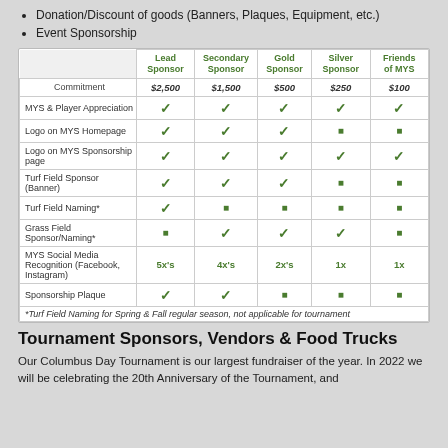Donation/Discount of goods (Banners, Plaques, Equipment, etc.)
Event Sponsorship
|  | Lead Sponsor | Secondary Sponsor | Gold Sponsor | Silver Sponsor | Friends of MYS |
| --- | --- | --- | --- | --- | --- |
| Commitment | $2,500 | $1,500 | $500 | $250 | $100 |
| MYS & Player Appreciation | ✓ | ✓ | ✓ | ✓ | ✓ |
| Logo on MYS Homepage | ✓ | ✓ | ✓ | ■ | ■ |
| Logo on MYS Sponsorship page | ✓ | ✓ | ✓ | ✓ | ✓ |
| Turf Field Sponsor (Banner) | ✓ | ✓ | ✓ | ■ | ■ |
| Turf Field Naming* | ✓ | ■ | ■ | ■ | ■ |
| Grass Field Sponsor/Naming* | ■ | ✓ | ✓ | ✓ | ■ |
| MYS Social Media Recognition (Facebook, Instagram) | 5x's | 4x's | 2x's | 1x | 1x |
| Sponsorship Plaque | ✓ | ✓ | ■ | ■ | ■ |
Tournament Sponsors, Vendors & Food Trucks
Our Columbus Day Tournament is our largest fundraiser of the year. In 2022 we will be celebrating the 20th Anniversary of the Tournament, and